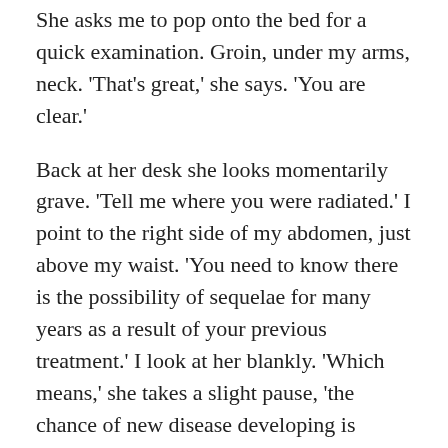She asks me to pop onto the bed for a quick examination. Groin, under my arms, neck. 'That's great,' she says. 'You are clear.'
Back at her desk she looks momentarily grave. 'Tell me where you were radiated.' I point to the right side of my abdomen, just above my waist. 'You need to know there is the possibility of sequelae for many years as a result of your previous treatment.' I look at her blankly. 'Which means,' she takes a slight pause, 'the chance of new disease developing is greater than your lymphoma returning.' She pauses again. 'For example, in your bowel. Or prostate.' She reels off a list of scenarios which would require a visit to my GP. Then she smiles. 'So from our point of view you are effectively cured. We are going to discharge you. The chances of your cancer returning now are very remote.' I look across the desk at her, trying to talk